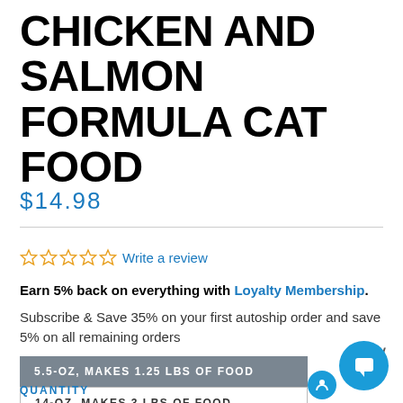CHICKEN AND SALMON FORMULA CAT FOOD
$14.98
☆☆☆☆☆ Write a review
Earn 5% back on everything with Loyalty Membership.
Subscribe & Save 35% on your first autoship order and save 5% on all remaining orders
5.5-OZ, MAKES 1.25 LBS OF FOOD
14-OZ, MAKES 3 LBS OF FOOD
QUANTITY